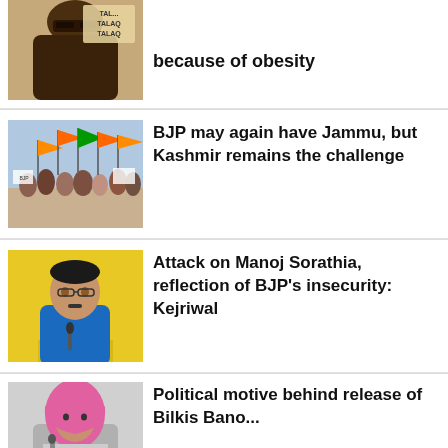[Figure (photo): Illustration of a woman in niqab/burqa holding a sign that reads TALAQ TALAQ TALAQ]
because of obesity
[Figure (photo): Photo of BJP rally with people holding BJP flags and banners]
BJP may again have Jammu, but Kashmir remains the challenge
[Figure (photo): Photo of Kejriwal in blue shirt speaking at a podium against yellow background]
Attack on Manoj Sorathia, reflection of BJP's insecurity: Kejriwal
[Figure (photo): Photo of a woman in pink hijab]
Political motive behind release of Bilkis Bano...